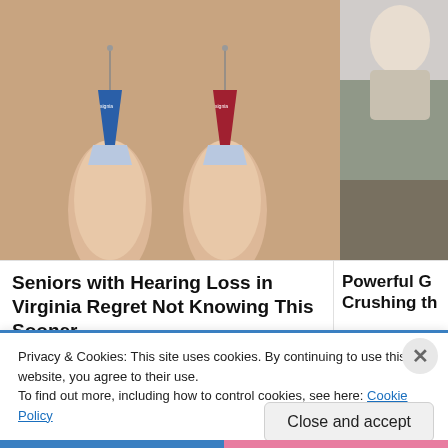[Figure (photo): Two small hearing aids (one blue, one red, both branded Signia) held between fingers against a blurred background]
[Figure (photo): Partial image of an elderly person, cropped on the right side]
Seniors with Hearing Loss in Virginia Regret Not Knowing This Sooner
Powerful G Crushing th
Privacy & Cookies: This site uses cookies. By continuing to use this website, you agree to their use.
To find out more, including how to control cookies, see here: Cookie Policy
Close and accept